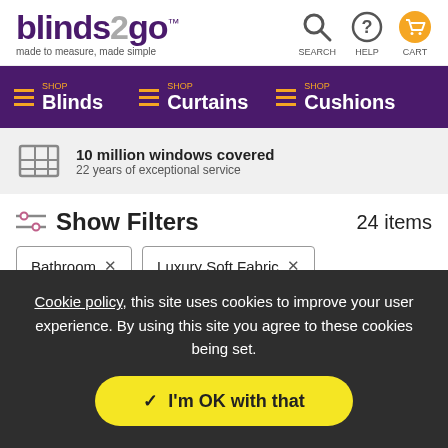[Figure (logo): blinds2go logo with tagline 'made to measure, made simple' and header icons for SEARCH, HELP, and CART]
Blinds | Curtains | Cushions - navigation bar with SHOP labels
10 million windows covered
22 years of exceptional service
Show Filters   24 items
Bathroom ×
Luxury Soft Fabric ×
All Patterns & Designs ×
Blackout ×
Cookie policy, this site uses cookies to improve your user experience. By using this site you agree to these cookies being set.